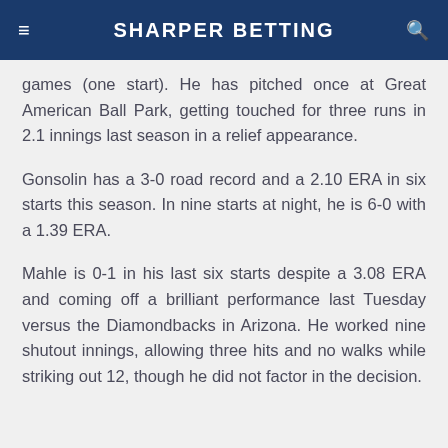SHARPER BETTING
games (one start). He has pitched once at Great American Ball Park, getting touched for three runs in 2.1 innings last season in a relief appearance.
Gonsolin has a 3-0 road record and a 2.10 ERA in six starts this season. In nine starts at night, he is 6-0 with a 1.39 ERA.
Mahle is 0-1 in his last six starts despite a 3.08 ERA and coming off a brilliant performance last Tuesday versus the Diamondbacks in Arizona. He worked nine shutout innings, allowing three hits and no walks while striking out 12, though he did not factor in the decision.